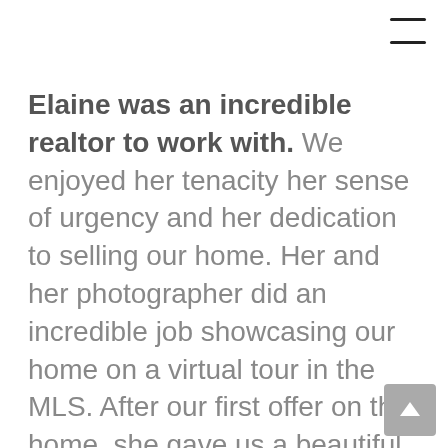Elaine was an incredible realtor to work with. We enjoyed her tenacity her sense of urgency and her dedication to selling our home.  Her and her  photographer did an incredible job showcasing our home on a virtual tour in the MLS.  After our first offer on the home, she gave us a beautiful gift basket that was just out of this world.  Then when we sold the home and all had gone through escrow, we got another wonderful beautiful gift basket with amazing goodies in it.  Elaine and her staff are top-quality the best In the business.  Thank you Elaine Gallagher for making us